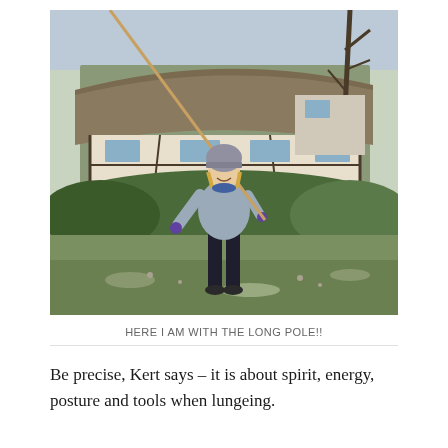[Figure (photo): A woman in a light blue/grey puffer jacket, dark trousers, grey beanie hat and purple gloves stands outdoors on a grassy area holding a long wooden pole diagonally. Behind her is a thatched half-timbered cottage, hedges, and bare trees. The setting appears to be a rural English village in winter.]
HERE I AM WITH THE LONG POLE!!
Be precise, Kert says – it is about spirit, energy, posture and tools when lungeing.